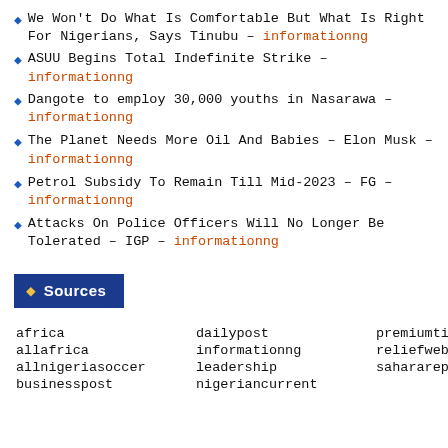We Won't Do What Is Comfortable But What Is Right For Nigerians, Says Tinubu – informationng
ASUU Begins Total Indefinite Strike – informationng
Dangote to employ 30,000 youths in Nasarawa – informationng
The Planet Needs More Oil And Babies – Elon Musk – informationng
Petrol Subsidy To Remain Till Mid-2023 – FG – informationng
Attacks On Police Officers Will No Longer Be Tolerated – IGP – informationng
Sources
africa   dailypost   premiumtimesng
allafrica   informationng   reliefweb
allnigeriasoccer   leadership   saharareporters
businesspost   nigeriancurrent